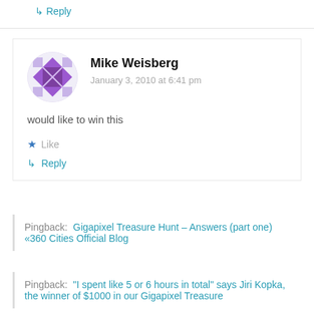↳ Reply
[Figure (illustration): Circular avatar image with purple/violet geometric pattern on white background, resembling a pixel art or quilt design]
Mike Weisberg
January 3, 2010 at 6:41 pm
would like to win this
★ Like
↳ Reply
Pingback:  Gigapixel Treasure Hunt – Answers (part one) «360 Cities Official Blog
Pingback:  "I spent like 5 or 6 hours in total" says Jiri Kopka, the winner of $1000 in our Gigapixel Treasure